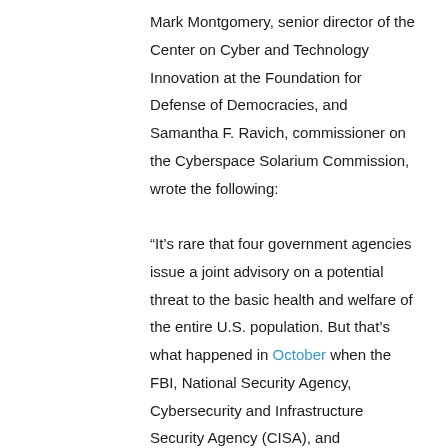Mark Montgomery, senior director of the Center on Cyber and Technology Innovation at the Foundation for Defense of Democracies, and Samantha F. Ravich, commissioner on the Cyberspace Solarium Commission, wrote the following:

“It’s rare that four government agencies issue a joint advisory on a potential threat to the basic health and welfare of the entire U.S. population. But that’s what happened in October when the FBI, National Security Agency, Cybersecurity and Infrastructure Security Agency (CISA), and Environmental Protection Agency warned that U.S. water and wastewater systems are being targeted by hackers around the world, using…